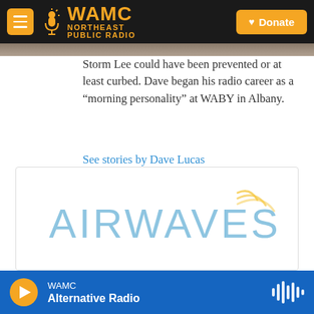WAMC NORTHEAST PUBLIC RADIO | Donate
Storm Lee could have been prevented or at least curbed. Dave began his radio career as a “morning personality” at WABY in Albany.
See stories by Dave Lucas
[Figure (logo): AIRWAVES logo with radio wave arcs in light blue and gold]
WAMC Alternative Radio